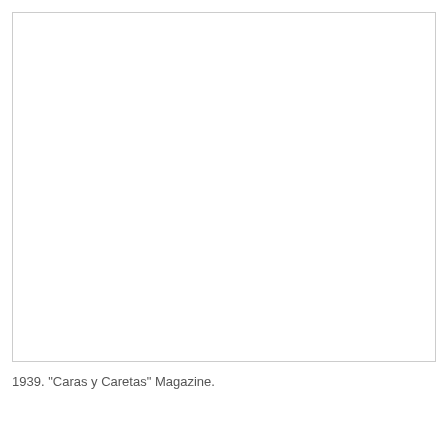[Figure (photo): A largely blank/white image area with a thin border, representing a photo placeholder or a very faded/white image from 1939 Caras y Caretas Magazine.]
1939. "Caras y Caretas" Magazine.